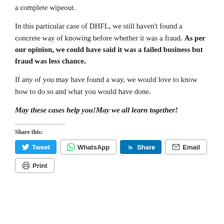a complete wipeout.
In this particular case of DHFL, we still haven't found a concrete way of knowing before whether it was a fraud. As per our opinion, we could have said it was a failed business but fraud was less chance.
If any of you may have found a way, we would love to know how to do so and what you would have done.
May these cases help you!May we all learn together!
Share this:
Tweet  WhatsApp  Share  Email  Print